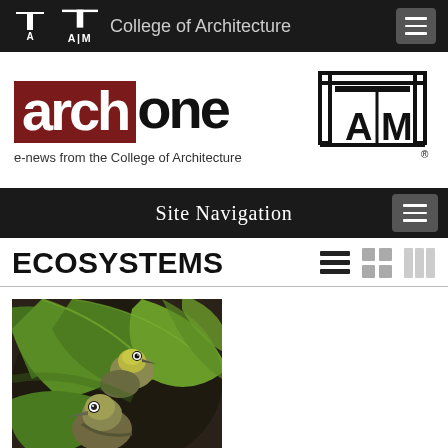College of Architecture
[Figure (logo): archone e-news from the College of Architecture logo with Texas A&M ATM logo]
e-news from the College of Architecture
Site Navigation
ECOSYSTEMS
[Figure (photo): Two small birds (possibly white-eyes or similar species) among green leaves, looking at camera]